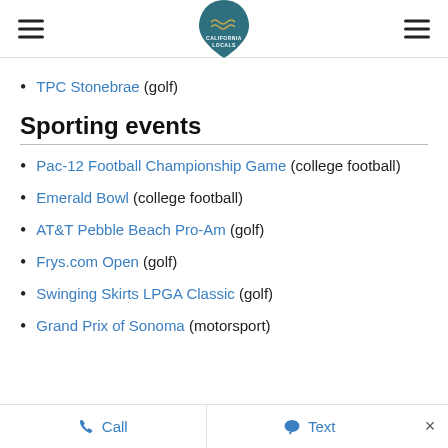California Locals (logo with hamburger menus)
TPC Stonebrae (golf)
Sporting events
Pac-12 Football Championship Game (college football)
Emerald Bowl (college football)
AT&T Pebble Beach Pro-Am (golf)
Frys.com Open (golf)
Swinging Skirts LPGA Classic (golf)
Grand Prix of Sonoma (motorsport)
Call   Text   ×